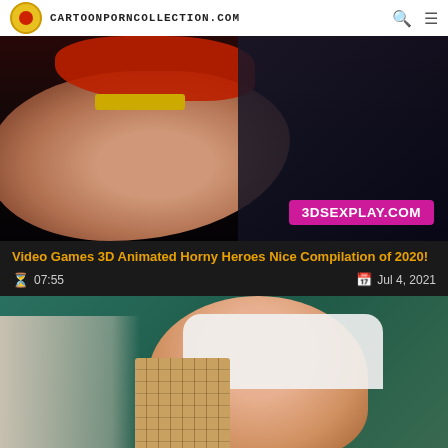CARTOONPORNCOLLECTION.COM
[Figure (screenshot): Dark 3D animated video thumbnail with female character in red outfit and 3DSEXPLAY.COM watermark]
Video Games 3D Animated Horny Heroes Nice Compilation of 2020!
07:55   Jul 4, 2021
[Figure (screenshot): Anime style video thumbnail with female character in white outfit, teal background]